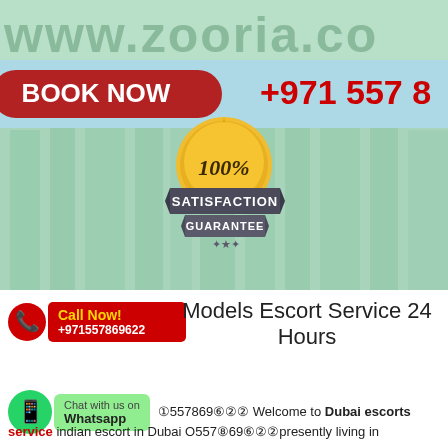[Figure (infographic): Banner with www.zooria.co watermark text, light green city background, red BOOK NOW button, light blue bar with phone number +971 557 8... and a 100% Satisfaction Guarantee gold badge in center]
[Figure (infographic): Red call badge with phone icon showing Call Now! +971557869622]
Models Escort Service 24 Hours
[Figure (infographic): Green WhatsApp badge with Chat with us on Whatsapp text]
①557869⑥②② Welcome to Dubai escorts service indian escort in Dubai O557⑧69⑥②②presently living in